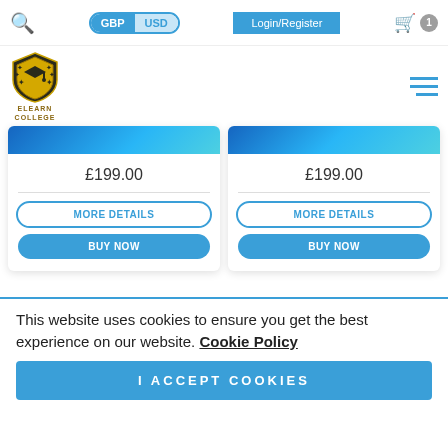GBP | USD | Login/Register | Cart: 1
[Figure (logo): Elearn College shield logo with laurel wreath and graduation cap, gold and black, text ELEARN COLLEGE below]
£199.00
MORE DETAILS
BUY NOW
£199.00
MORE DETAILS
BUY NOW
This website uses cookies to ensure you get the best experience on our website. Cookie Policy
I ACCEPT COOKIES